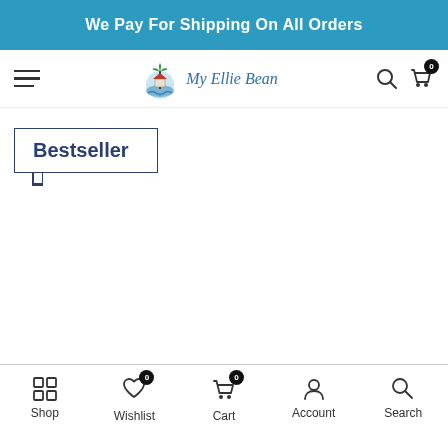We Pay For Shipping On All Orders
[Figure (logo): My Ellie Bean website logo with palm tree and ocean icon]
Bestseller
Shop | Wishlist 0 | Cart 0 | Account | Search